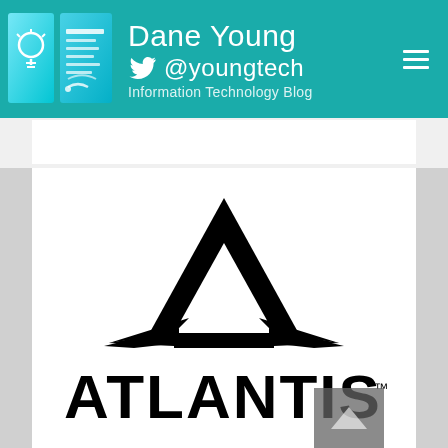[Figure (logo): Dane Young @youngtech Information Technology Blog header with teal background, lightbulb and news icons, Twitter bird icon, and hamburger menu]
[Figure (logo): Atlantis brand logo — stylized letter A with star/arrow crossbar above the word ATLANTIS in bold black capitals with TM mark]